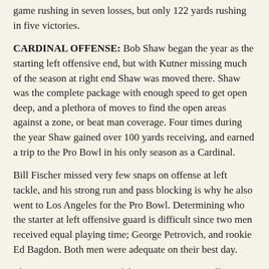game rushing in seven losses, but only 122 yards rushing in five victories.
CARDINAL OFFENSE: Bob Shaw began the year as the starting left offensive end, but with Kutner missing much of the season at right end Shaw was moved there. Shaw was the complete package with enough speed to get open deep, and a plethora of moves to find the open areas against a zone, or beat man coverage. Four times during the year Shaw gained over 100 yards receiving, and earned a trip to the Pro Bowl in his only season as a Cardinal.
Bill Fischer missed very few snaps on offense at left tackle, and his strong run and pass blocking is why he also went to Los Angeles for the Pro Bowl. Determining who the starter at left offensive guard is difficult since two men received equal playing time; George Petrovich, and rookie Ed Bagdon. Both men were adequate on their best day.
The starting center most of the time was rangy Bill Blackburn. His skills as a run and pass blocker were strong, but he would not be ranked as one of the top-notch centers in the league.
During the victory over Washington in October when the Cardinals